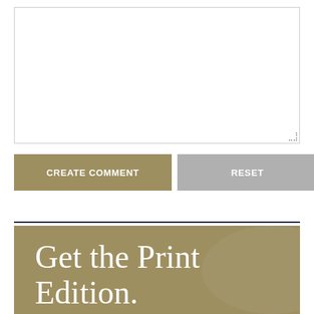[Figure (screenshot): Empty text area input field with resize handle in bottom-right corner]
CREATE COMMENT
RESET
Get the Print Edition.